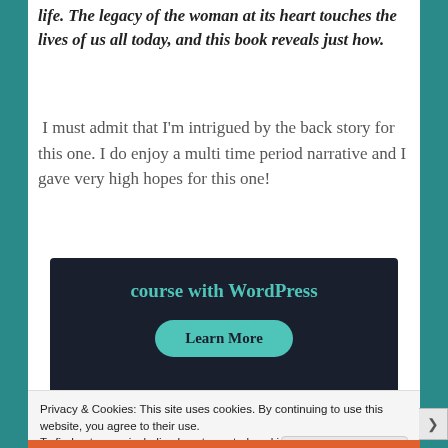life. The legacy of the woman at its heart touches the lives of us all today, and this book reveals just how.
I must admit that I'm intrigued by the back story for this one. I do enjoy a multi time period narrative and I gave very high hopes for this one!
[Figure (screenshot): Advertisement block with dark background showing 'course with WordPress' text in teal and a 'Learn More' button in teal pill shape.]
Privacy & Cookies: This site uses cookies. By continuing to use this website, you agree to their use.
To find out more, including how to control cookies, see here: Cookie Policy